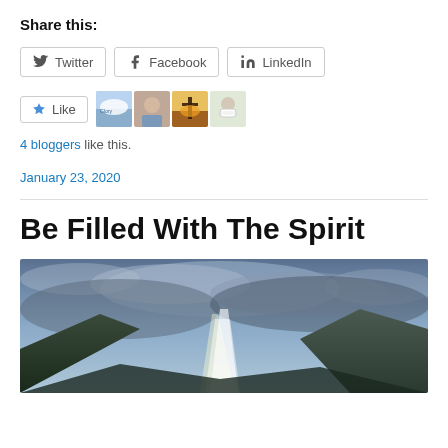Share this:
Twitter  Facebook  LinkedIn (share buttons)
[Figure (other): Like button with 4 blogger avatar thumbnails]
4 bloggers like this.
January 23, 2020
Be Filled With The Spirit
[Figure (photo): Landscape photo showing dramatic sky with light rays over mountains]